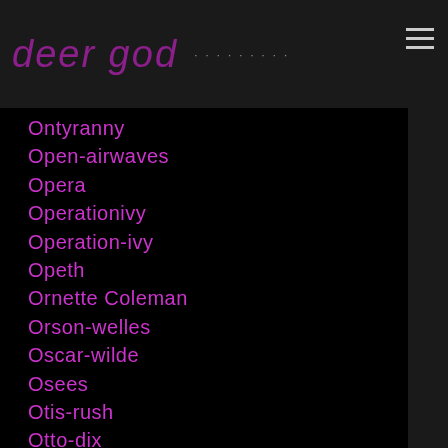deer god
Ontyranny
Open-airwaves
Opera
Operationivy
Operation-ivy
Opeth
Ornette Coleman
Orson-welles
Oscar-wilde
Osees
Otis-rush
Otto-dix
Outerbridge
Outkast
Oxbow
Oxycontin
Ozzfest